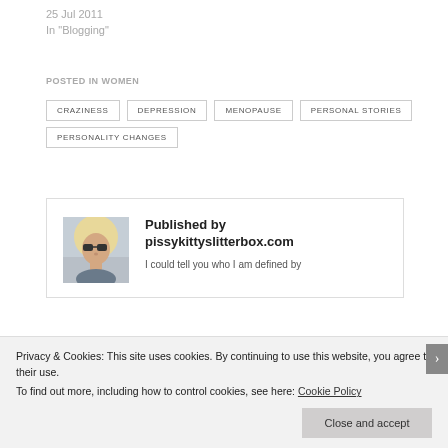25 Jul 2011
In "Blogging"
POSTED IN WOMEN
CRAZINESS
DEPRESSION
MENOPAUSE
PERSONAL STORIES
PERSONALITY CHANGES
Published by pissykittyslitterbox.com
I could tell you who I am defined by
[Figure (photo): Author avatar photo of blonde woman wearing sunglasses]
Privacy & Cookies: This site uses cookies. By continuing to use this website, you agree to their use. To find out more, including how to control cookies, see here: Cookie Policy
Close and accept